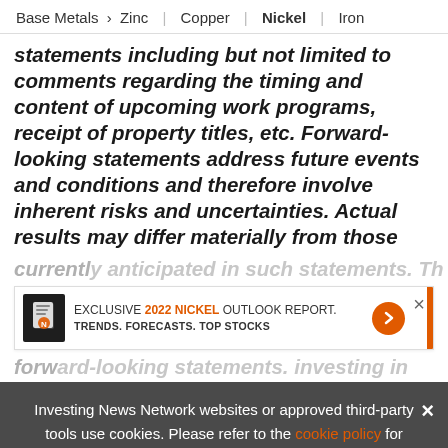Base Metals > Zinc | Copper | Nickel | Iron
statements including but not limited to comments regarding the timing and content of upcoming work programs, receipt of property titles, etc. Forward-looking statements address future events and conditions and therefore involve inherent risks and uncertainties. Actual results may differ materially from those
currently anticipated in such statements. Th
[Figure (infographic): Advertisement banner: book icon, text 'EXCLUSIVE 2022 NICKEL OUTLOOK REPORT. TRENDS. FORECASTS. TOP STOCKS.' with orange arrow button and orange vertical bar and X close button.]
forward-looking statements. investing in
Investing News Network websites or approved third-party tools use cookies. Please refer to the cookie policy for collected data, privacy and GDPR compliance. By continuing to browse the site, you agree to our use of cookies.